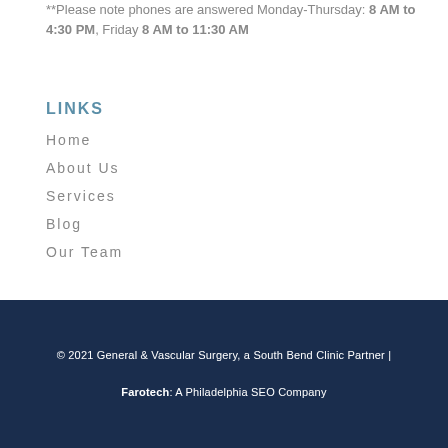Sunday: Closed
**Please note phones are answered Monday-Thursday: 8 AM to 4:30 PM, Friday 8 AM to 11:30 AM
LINKS
Home
About Us
Services
Blog
Our Team
© 2021 General & Vascular Surgery, a South Bend Clinic Partner | Farotech: A Philadelphia SEO Company